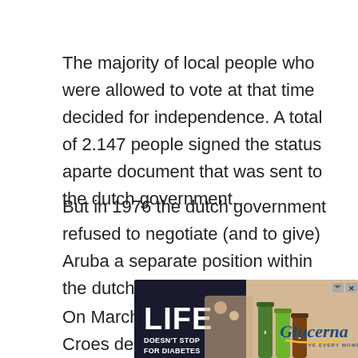The majority of local people who were allowed to vote at that time decided for independence. A total of 2.147 people signed the status aparte document that was sent to the dutch government.
But in 1976 the dutch government refused to negotiate (and to give) Aruba a separate position within the dutch kingdom.
On March 18, 1976 that Betico Croes declared
[Figure (other): Advertisement banner for Glucerna showing 'LIFE DOESN'T STOP FOR DIABETES' with Glucerna bottles and logo 'LIVE EVERY MOMENT']